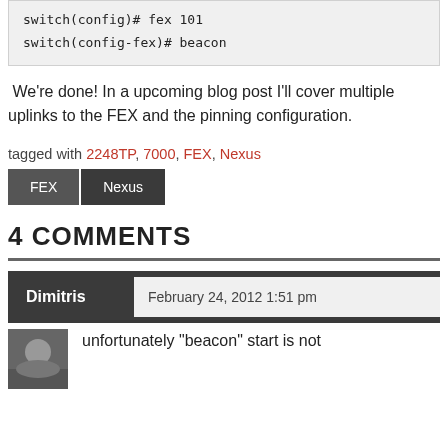switch(config)# fex 101
switch(config-fex)# beacon
We're done! In a upcoming blog post I'll cover multiple uplinks to the FEX and the pinning configuration.
tagged with 2248TP, 7000, FEX, Nexus
FEX  Nexus
4 COMMENTS
Dimitris  February 24, 2012 1:51 pm
unfortunately "beacon" start is not